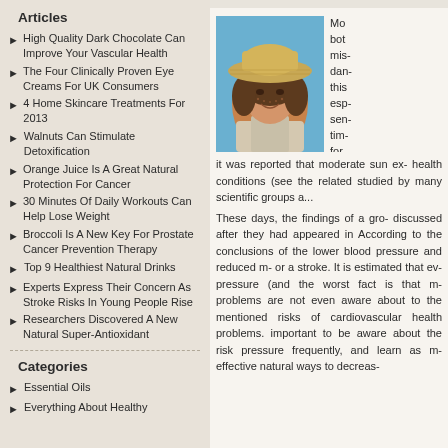Articles
High Quality Dark Chocolate Can Improve Your Vascular Health
The Four Clinically Proven Eye Creams For UK Consumers
4 Home Skincare Treatments For 2013
Walnuts Can Stimulate Detoxification
Orange Juice Is A Great Natural Protection For Cancer
30 Minutes Of Daily Workouts Can Help Lose Weight
Broccoli Is A New Key For Prostate Cancer Prevention Therapy
Top 9 Healthiest Natural Drinks
Experts Express Their Concern As Stroke Risks In Young People Rise
Researchers Discovered A New Natural Super-Antioxidant
Categories
Essential Oils
Everything About Healthy
[Figure (photo): Woman with curly hair wearing a straw hat, smiling in sunlight with clear blue sky background]
Mo... both mis- dan- this esp- sen- tim- for D m- it was reported that moderate sun ex- health conditions (see the related studied by many scientific groups a...
These days, the findings of a gro- discussed after they had appeared in According to the conclusions of the lower blood pressure and reduced m- or a stroke. It is estimated that ev- pressure (and the worst fact is that m- problems are not even aware about to the mentioned risks of cardiovascular health problems. important to be aware about the risk pressure frequently, and learn as m- effective natural ways to decreas-